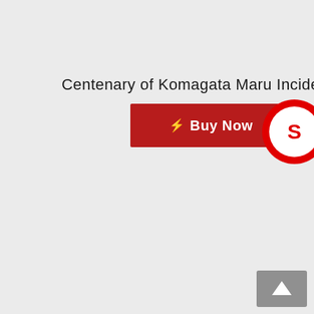Centenary of Komagata Maru Incident
[Figure (other): Red 'Buy Now' button with lightning bolt icon]
[Figure (logo): Scribd circular logo badge in red and white, partially visible at right edge]
[Figure (other): Grey 'back to top' button with upward arrow at bottom right corner]